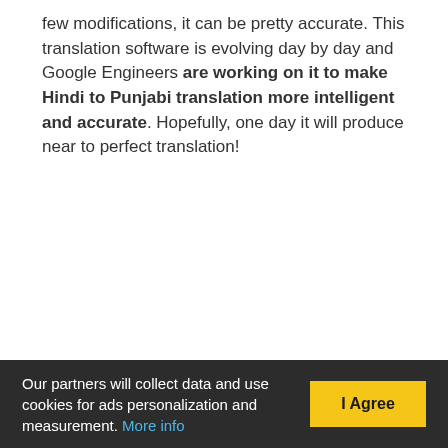few modifications, it can be pretty accurate. This translation software is evolving day by day and Google Engineers are working on it to make Hindi to Punjabi translation more intelligent and accurate. Hopefully, one day it will produce near to perfect translation!
Our partners will collect data and use cookies for ads personalization and measurement. More info  I Agree